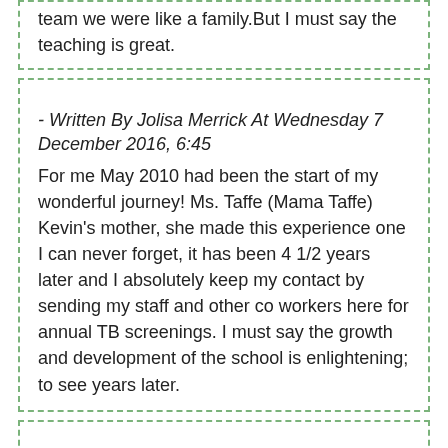team we were like a family.But I must say the teaching is great.
- Written By Jolisa Merrick At Wednesday 7 December 2016, 6:45
For me May 2010 had been the start of my wonderful journey! Ms. Taffe (Mama Taffe) Kevin's mother, she made this experience one I can never forget, it has been 4 1/2 years later and I absolutely keep my contact by sending my staff and other co workers here for annual TB screenings. I must say the growth and development of the school is enlightening; to see years later.
- Written By Drina At Wednesday 7 December 2016, 6:30
Just finished the CNA program. Good school.